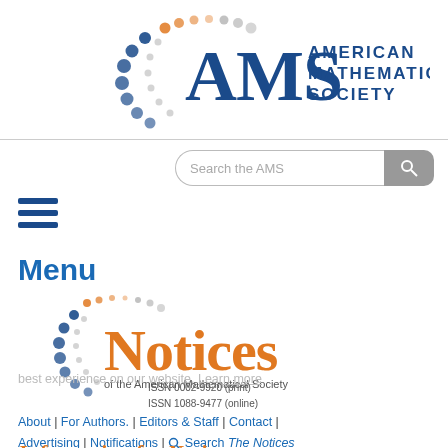[Figure (logo): American Mathematical Society (AMS) logo with colorful dots arc and blue AMS text with full name]
[Figure (screenshot): Search bar with text 'Search the AMS' and grey search button]
[Figure (illustration): Hamburger menu icon (three horizontal blue lines)]
Menu
[Figure (logo): Notices of the American Mathematical Society logo with orange 'Notices' text and dot arc]
ISSN 0002-9920 (print)
ISSN 1088-9477 (online)
About | For Authors. | Editors & Staff | Contact | Advertising | Notifications | Search The Notices
Information for Notices